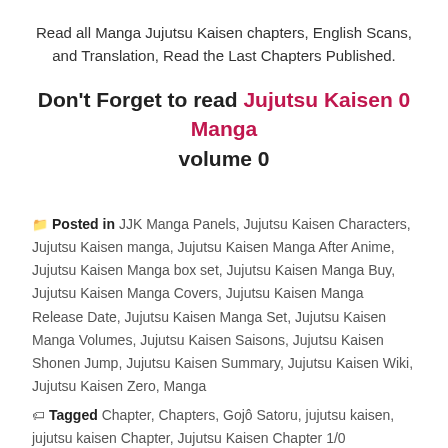Read all Manga Jujutsu Kaisen chapters, English Scans, and Translation, Read the Last Chapters Published.
Don't Forget to read Jujutsu Kaisen 0 Manga volume 0
📁 Posted in JJK Manga Panels, Jujutsu Kaisen Characters, Jujutsu Kaisen manga, Jujutsu Kaisen Manga After Anime, Jujutsu Kaisen Manga box set, Jujutsu Kaisen Manga Buy, Jujutsu Kaisen Manga Covers, Jujutsu Kaisen Manga Release Date, Jujutsu Kaisen Manga Set, Jujutsu Kaisen Manga Volumes, Jujutsu Kaisen Saisons, Jujutsu Kaisen Shonen Jump, Jujutsu Kaisen Summary, Jujutsu Kaisen Wiki, Jujutsu Kaisen Zero, Manga
🏷 Tagged Chapter, Chapters, Gojô Satoru, jujutsu kaisen, jujutsu kaisen Chapter, Jujutsu Kaisen Chapter 1/0